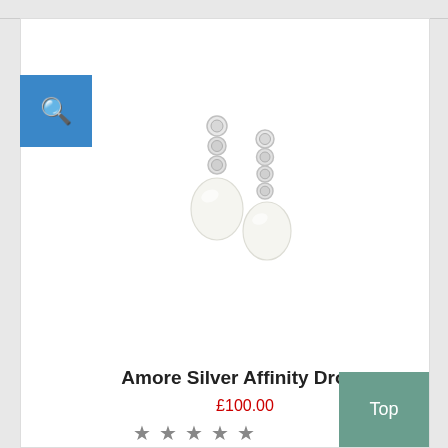[Figure (photo): Product photo of Amore Silver Affinity Drops earrings — two drop earrings with silver crystal chain tops and white pearl drops on a white background]
Amore Silver Affinity Drops
£100.00
No Reviews